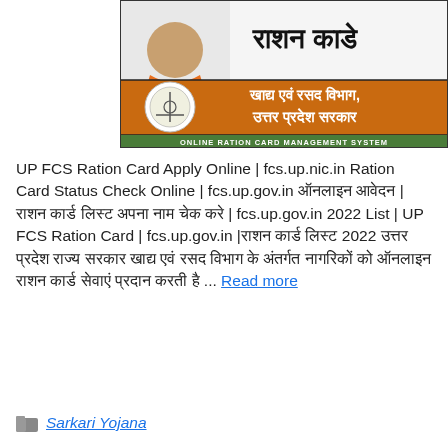[Figure (illustration): UP Ration Card banner image: a man in orange with Devanagari text 'राशन काडे' at top, and an orange banner with UP government seal, text in Hindi 'खाद्य एवं रसद विभाग, उत्तर प्रदेश सरकार', and a green bar reading 'ONLINE RATION CARD MANAGEMENT SYSTEM']
UP FCS Ration Card Apply Online | fcs.up.nic.in Ration Card Status Check Online | fcs.up.gov.in ऑनलाइन आवेदन | राशन कार्ड लिस्ट अपना नाम चेक करे | fcs.up.gov.in 2022 List | UP FCS Ration Card | fcs.up.gov.in |राशन कार्ड लिस्ट 2022 उत्तर प्रदेश राज्य सरकार खाद्य एवं रसद विभाग के अंतर्गत नागरिकों को ऑनलाइन राशन कार्ड सेवाएं प्रदान करती है ... Read more
Sarkari Yojana